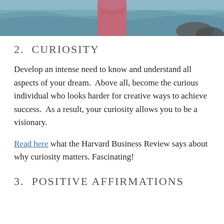[Figure (photo): Cropped photo showing a person in a pink/red sweater standing by a rocky ocean shore, only the lower body/torso visible at top of page]
2.  CURIOSITY
Develop an intense need to know and understand all aspects of your dream.  Above all, become the curious individual who looks harder for creative ways to achieve success.  As a result, your curiosity allows you to be a visionary.
Read here what the Harvard Business Review says about why curiosity matters. Fascinating!
3.  POSITIVE AFFIRMATIONS